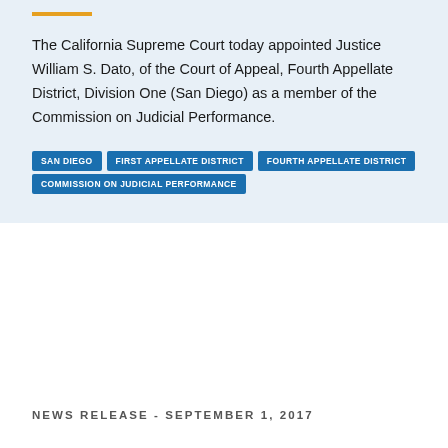The California Supreme Court today appointed Justice William S. Dato, of the Court of Appeal, Fourth Appellate District, Division One (San Diego) as a member of the Commission on Judicial Performance.
SAN DIEGO
FIRST APPELLATE DISTRICT
FOURTH APPELLATE DISTRICT
COMMISSION ON JUDICIAL PERFORMANCE
NEWS RELEASE - SEPTEMBER 1, 2017